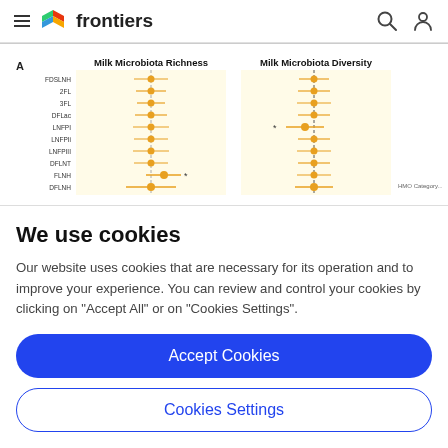frontiers
[Figure (other): Partial view of a forest plot showing Milk Microbiota Richness and Milk Microbiota Diversity for various HMO categories (FDSLNH, 2FL, 3FL, DFLac, LNFPI, LNFPIi, LNFPIII, DFLNT, FLNH, DFLNH). Orange dots with horizontal error bars on a pale yellow background. A vertical dashed line marks zero/reference. An asterisk marks a significant result for FLNH in Richness and LNFPI in Diversity.]
We use cookies
Our website uses cookies that are necessary for its operation and to improve your experience. You can review and control your cookies by clicking on "Accept All" or on "Cookies Settings".
Accept Cookies
Cookies Settings